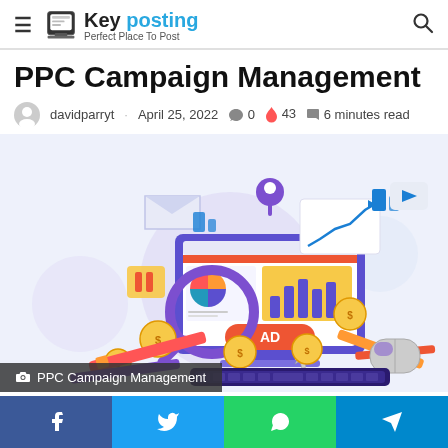Key posting · Perfect Place To Post
PPC Campaign Management
davidparryt · April 25, 2022 💬 0 🔥 43 🔖 6 minutes read
[Figure (illustration): Colorful digital marketing illustration showing a computer monitor with an AD button being clicked, surrounded by gold coins, a magnifying glass, a location pin, a line chart, an envelope, a mouse, and various marketing icons — representing PPC campaign management.]
📷 PPC Campaign Management